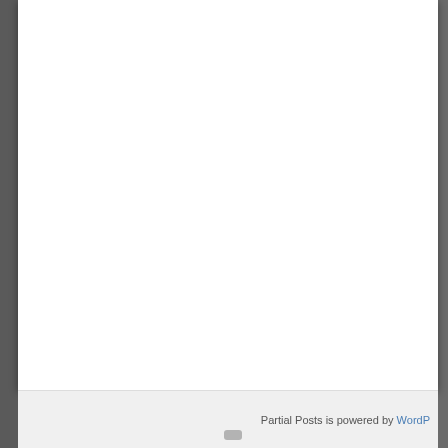Partial Posts is powered by WordP...